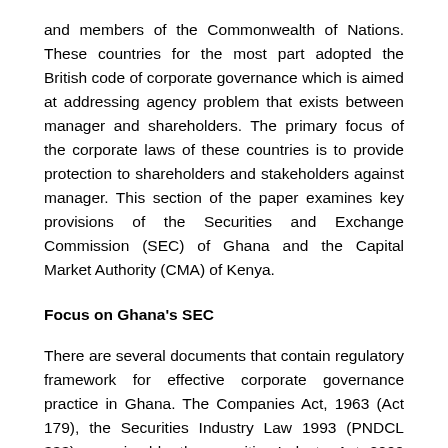and members of the Commonwealth of Nations. These countries for the most part adopted the British code of corporate governance which is aimed at addressing agency problem that exists between manager and shareholders. The primary focus of the corporate laws of these countries is to provide protection to shareholders and stakeholders against manager. This section of the paper examines key provisions of the Securities and Exchange Commission (SEC) of Ghana and the Capital Market Authority (CMA) of Kenya.
Focus on Ghana's SEC
There are several documents that contain regulatory framework for effective corporate governance practice in Ghana. The Companies Act, 1963 (Act 179), the Securities Industry Law 1993 (PNDCL 333) as revised by the securities Industry Act, 2000 (Act 590), the